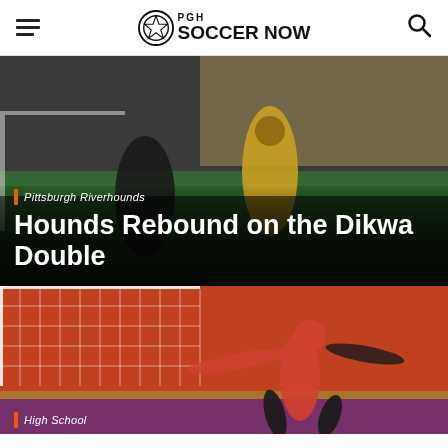PGH SOCCER NOW
[Figure (photo): Two soccer players in action on a field, one in a dark uniform with number 39 and one in a yellow jersey, stadium seating visible in background]
Pittsburgh Riverhounds
Hounds Rebound on the Dikwa Double
[Figure (photo): Soccer goalkeeper in red jersey stretching wide in front of goal net at a stadium with purple and gold track markings]
High School